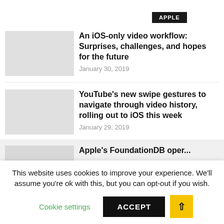APPLE
An iOS-only video workflow: Surprises, challenges, and hopes for the future
January 30, 2019
YouTube's new swipe gestures to navigate through video history, rolling out to iOS this week
January 29, 2019
Apple's FoundationDB oper...
This website uses cookies to improve your experience. We'll assume you're ok with this, but you can opt-out if you wish.
Cookie settings
ACCEPT